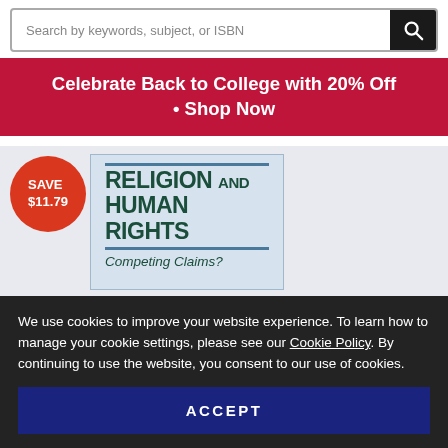[Figure (screenshot): Search bar with placeholder text 'Search by keywords, subject, or ISBN' and a dark search icon button on the right]
Celebrate Back to College with 20% Off • Shop Now
[Figure (photo): Book cover for 'Religion and Human Rights: Competing Claims?' shown with a red circular badge reading 'SAVE $11.79' overlaid on a grey background]
We use cookies to improve your website experience. To learn how to manage your cookie settings, please see our Cookie Policy. By continuing to use the website, you consent to our use of cookies.
ACCEPT